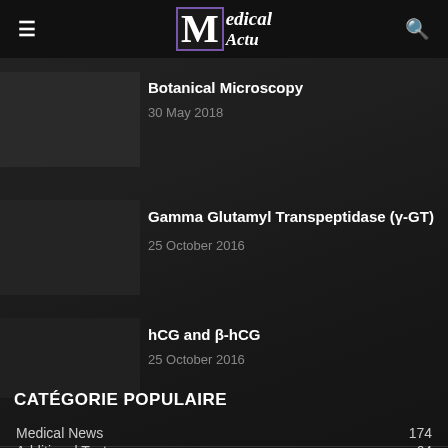Medical Actu
Botanical Microscopy
30 May 2018
Gamma Glutamyl Transpeptidase (γ-GT)
25 October 2016
hCG and β-hCG
25 October 2016
CATÉGORIE POPULAIRE
Medical News 174
Additional Tests 64